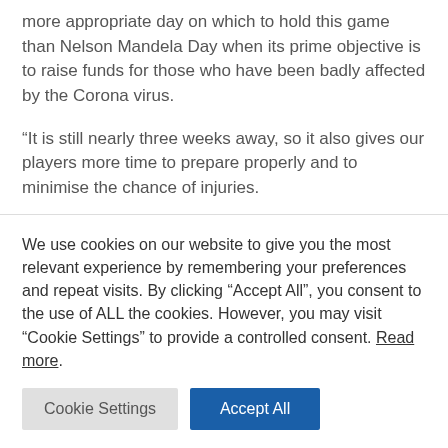more appropriate day on which to hold this game than Nelson Mandela Day when its prime objective is to raise funds for those who have been badly affected by the Corona virus.
“It is still nearly three weeks away, so it also gives our players more time to prepare properly and to minimise the chance of injuries.
“I would like to thank the Government and our own
We use cookies on our website to give you the most relevant experience by remembering your preferences and repeat visits. By clicking “Accept All”, you consent to the use of ALL the cookies. However, you may visit "Cookie Settings" to provide a controlled consent. Read more.